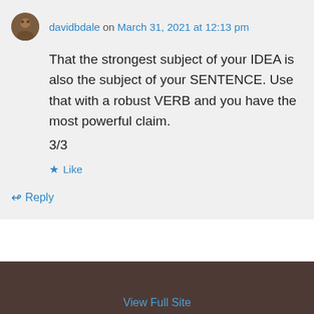davidbdale on March 31, 2021 at 12:13 pm
That the strongest subject of your IDEA is also the subject of your SENTENCE. Use that with a robust VERB and you have the most powerful claim.
3/3
★ Like
↳ Reply
View Full Site